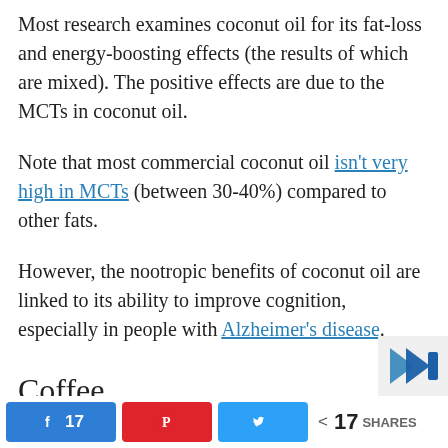Most research examines coconut oil for its fat-loss and energy-boosting effects (the results of which are mixed). The positive effects are due to the MCTs in coconut oil.
Note that most commercial coconut oil isn't very high in MCTs (between 30-40%) compared to other fats.
However, the nootropic benefits of coconut oil are linked to its ability to improve cognition, especially in people with Alzheimer's disease.
Coffee
[Figure (logo): Small brand logo in corner]
17 [Facebook share] [Pinterest share] [Twitter share] < 17 SHARES